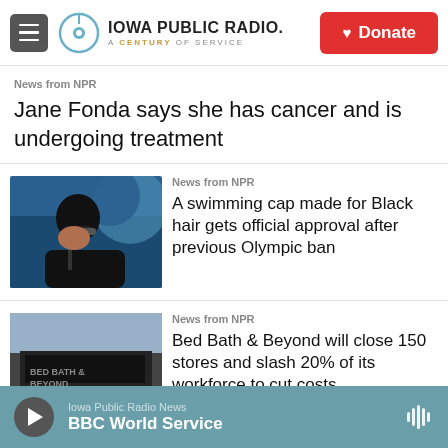Iowa Public Radio — A Century of Service | Donate
News from NPR
Jane Fonda says she has cancer and is undergoing treatment
[Figure (photo): Swimmer wearing black swim cap and goggles, looking to the side, with blue background]
News from NPR
A swimming cap made for Black hair gets official approval after previous Olympic ban
[Figure (photo): Exterior of Bed Bath & Beyond store with people walking by on a city street]
News from NPR
Bed Bath & Beyond will close 150 stores and slash 20% of its workforce to cut costs
Iowa Public Radio News — BBC World Service